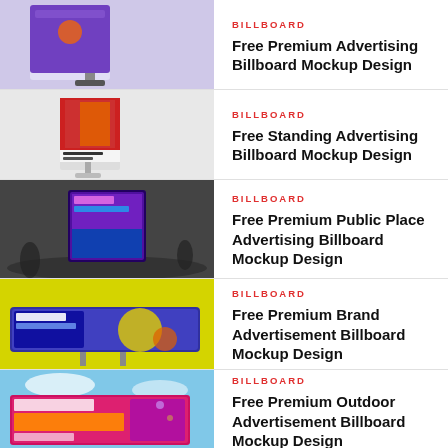[Figure (illustration): Billboard mockup 1 - purple vertical billboard on grey background]
BILLBOARD
Free Premium Advertising Billboard Mockup Design
[Figure (illustration): Billboard mockup 2 - standing advertising billboard with orange jacket model]
BILLBOARD
Free Standing Advertising Billboard Mockup Design
[Figure (illustration): Billboard mockup 3 - public place advertising billboard in dark metro station]
BILLBOARD
Free Premium Public Place Advertising Billboard Mockup Design
[Figure (illustration): Billboard mockup 4 - brand advertisement horizontal billboard on yellow background]
BILLBOARD
Free Premium Brand Advertisement Billboard Mockup Design
[Figure (illustration): Billboard mockup 5 - outdoor advertisement billboard with colorful design and blue sky]
BILLBOARD
Free Premium Outdoor Advertisement Billboard Mockup Design